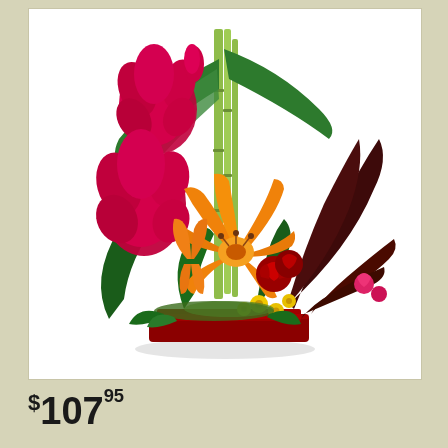[Figure (photo): A tropical floral arrangement featuring orange lilies, red/magenta ginger flowers, red roses, yellow button flowers, bamboo stalks, and dark tropical leaves arranged in a low red rectangular vase against a white background.]
$107.95